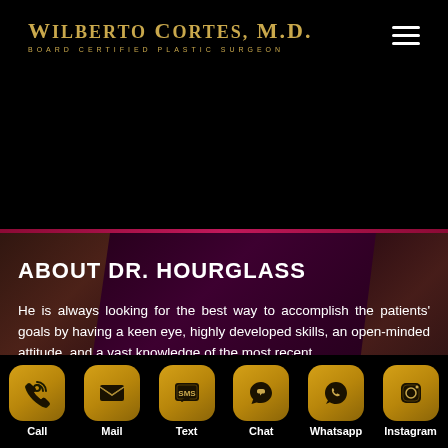WILBERTO CORTES, M.D. BOARD CERTIFIED PLASTIC SURGEON
[Figure (screenshot): Dark hero section with black background, top navigation bar with gold logo text 'WILBERTO CORTES, M.D. BOARD CERTIFIED PLASTIC SURGEON' and hamburger menu icon]
ABOUT DR. HOURGLASS
He is always looking for the best way to accomplish the patients' goals by having a keen eye, highly developed skills, an open-minded attitude, and a vast knowledge of the most recent
Call | Mail | Text | Chat | Whatsapp | Instagram